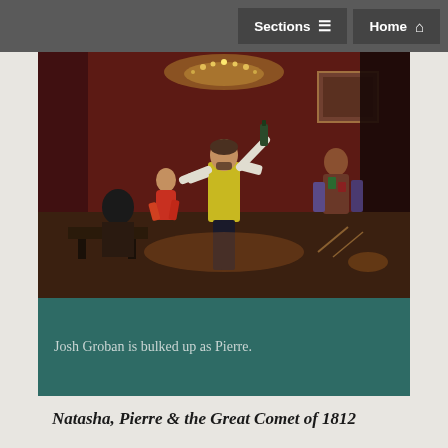Sections  Home
[Figure (photo): Theater performance photo: a man in a yellow-green vest and white shirt with arms raised holding a bottle, surrounded by performers in colorful costumes on a richly decorated stage set resembling a Russian salon or tavern with red drapes and chandeliers.]
Josh Groban is bulked up as Pierre.
Natasha, Pierre & the Great Comet of 1812